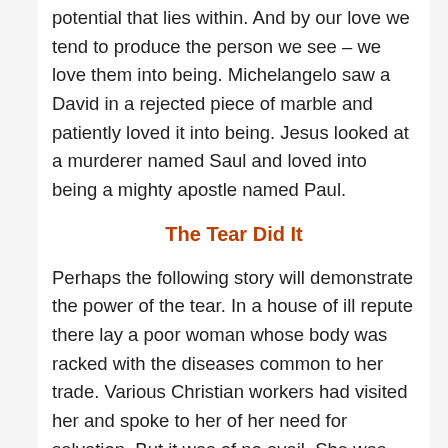potential that lies within.  And by our love we tend to produce the person we see  –  we love them into being.  Michelangelo saw a David in a rejected piece of marble and patiently loved it into being.  Jesus looked at a  murderer named Saul and loved into being a mighty apostle named Paul.
The Tear Did It
Perhaps the following story will demonstrate the power of the tear.  In a house of ill repute there lay a poor woman whose body was racked with the diseases common to her trade.  Various Christian workers had visited her and spoke to her of her need for salvation.  But it was of no avail.  She was unmoved and untouched by their